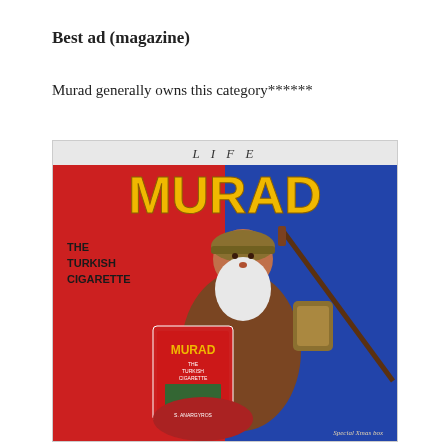Best ad (magazine)
Murad generally owns this category******
[Figure (illustration): Vintage Murad Turkish Cigarette advertisement from LIFE magazine, showing a soldier-like Santa Claus figure with a white beard wearing a military helmet and carrying a rifle, holding a large box of Murad cigarettes, with red and blue background halves. Text reads 'LIFE' at top, 'MURAD' in large yellow letters, 'THE TURKISH CIGARETTE' on the left side, and 'Special Xmas box' at the bottom right.]